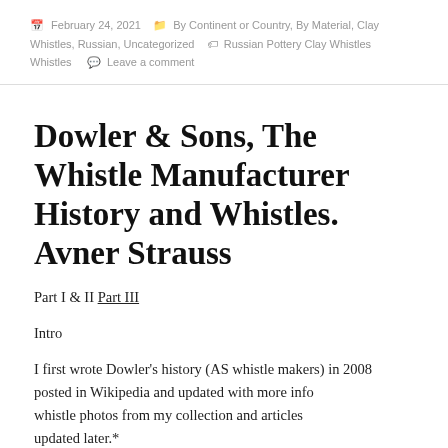February 24, 2021  By Continent or Country, By Material, Clay Whistles, Russian, Uncategorized  Russian Pottery Clay Whistles  Leave a comment
Dowler & Sons, The Whistle Manufacturer History and Whistles. Avner Strauss
Part I & II Part III
Intro
I first wrote Dowler's history (AS whistle makers) in 2008
posted in Wikipedia and updated with more info
whistle photos from my collection and articles
updated later.*